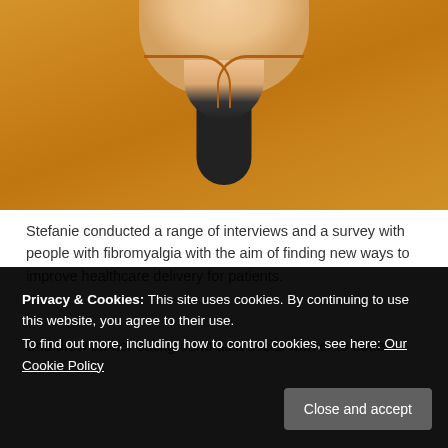[Figure (photo): Close-up photo of a person wearing a golden/mustard yellow long-sleeve top with a keyhole neckline, showing neck and upper chest area against a white background.]
Stefanie conducted a range of interviews and a survey with people with fibromyalgia with the aim of finding new ways to improve healthcare delivery for patients.
She drew on her background as a social worker to better
Privacy & Cookies: This site uses cookies. By continuing to use this website, you agree to their use.
To find out more, including how to control cookies, see here: Our Cookie Policy
wanted to use my knowledge and experiences for health services